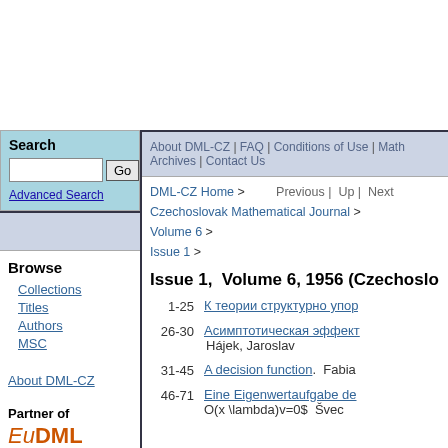Search | Advanced Search
About DML-CZ | FAQ | Conditions of Use | Math Archives | Contact Us
Browse
Collections
Titles
Authors
MSC
About DML-CZ
Partner of EuDML
DML-CZ Home > Czechoslovak Mathematical Journal > Volume 6 > Issue 1 > Previous | Up | Next
Issue 1, Volume 6, 1956 (Czechoslovak Mathematical Journal)
| Pages | Article |
| --- | --- |
| 1-25 | К теории структурно упор… |
| 26-30 | Асимптотическая эффект…  Hájek, Jaroslav |
| 31-45 | A decision function.  Fabia… |
| 46-71 | Eine Eigenwertaufgabe de… O(x \lambda)v=0$  Švec… |